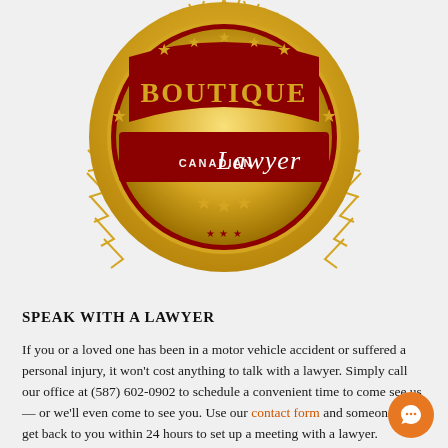[Figure (logo): Canadian Lawyer Boutique gold and red seal badge award logo with stars]
SPEAK WITH A LAWYER
If you or a loved one has been in a motor vehicle accident or suffered a personal injury, it won't cost anything to talk with a lawyer. Simply call our office at (587) 602-0902 to schedule a convenient time to come see us — or we'll even come to see you. Use our contact form and someone will get back to you within 24 hours to set up a meeting with a lawyer.